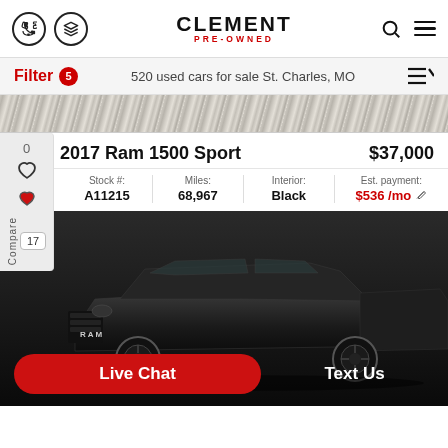CLEMENT PRE-OWNED
Filter 5 — 520 used cars for sale St. Charles, MO
[Figure (photo): Gravel/texture background strip]
2017 Ram 1500 Sport
$37,000
| Stock #: | Miles: | Interior: | Est. payment: |
| --- | --- | --- | --- |
| A11215 | 68,967 | Black | $536 /mo |
[Figure (photo): Black 2017 Ram 1500 Sport truck on dark background with Live Chat and Text Us buttons]
Live Chat
Text Us